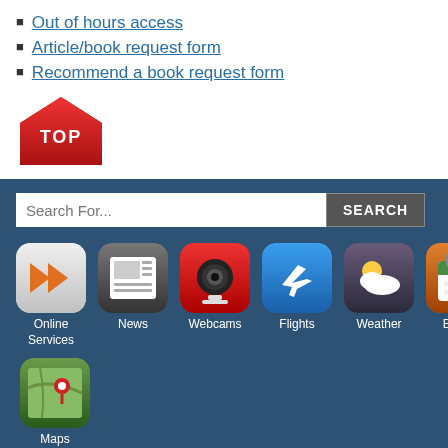Out of hours access
Article/book request form
Recommend a book request form
[Figure (illustration): Red pentagon-shaped TOP button/badge]
[Figure (screenshot): Blue footer section with search bar (Search For... input and SEARCH button), app icons grid (Online Services, News, Webcams, Flights, Weather, Events, Maps), and footer links (Terms and Conditions, Help)]